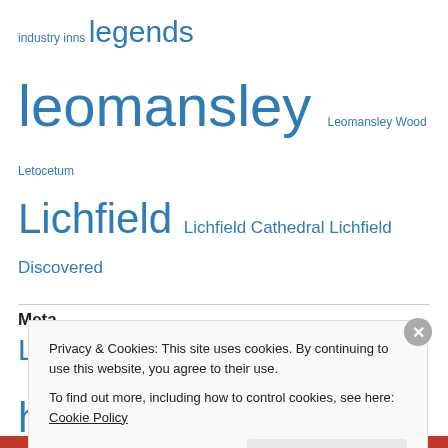industry inns legends leomansley Leomansley Wood Letocetum Lichfield Lichfield Cathedral Lichfield Discovered Lichfield history local history maps medieval mill Minster Pool nature pubs sandfields Sandford St sculpture Sheriff's Ride spring Staffordshire St Chad St John's St Michaels stone stones stories Stowe pool Tamworth The Close trades traditions tree following trees walks Wall water Wells woods
Meta
Privacy & Cookies: This site uses cookies. By continuing to use this website, you agree to their use.
To find out more, including how to control cookies, see here: Cookie Policy
Close and accept